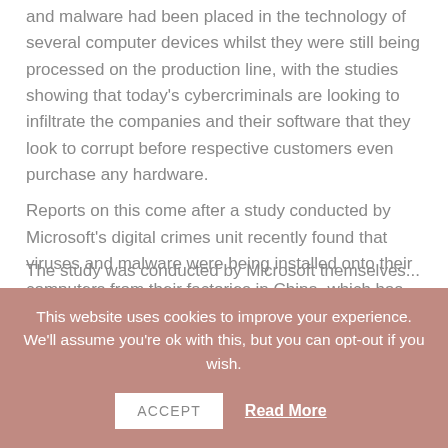and malware had been placed in the technology of several computer devices whilst they were still being processed on the production line, with the studies showing that today's cybercriminals are looking to infiltrate the companies and their software that they look to corrupt before respective customers even purchase any hardware.
Reports on this come after a study conducted by Microsoft's digital crimes unit recently found that viruses and malware were being installed onto their computers from their factories in China, which has the potential to expose a massive failing in the security of Microsoft's supply chains.
The study was conducted by Microsoft themselves...
This website uses cookies to improve your experience. We'll assume you're ok with this, but you can opt-out if you wish.